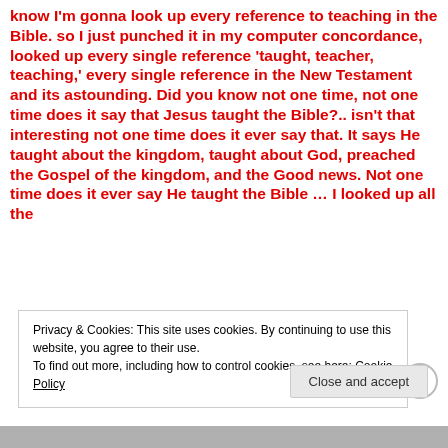know I'm gonna look up every reference to teaching in the Bible. so I just punched it in my computer concordance, looked up every single reference 'taught, teacher, teaching,' every single reference in the New Testament and its astounding. Did you know not one time, not one time does it say that Jesus taught the Bible?.. isn't that interesting not one time does it ever say that. It says He taught about the kingdom, taught about God, preached the Gospel of the kingdom, and the Good news. Not one time does it ever say He taught the Bible … I looked up all the
Privacy & Cookies: This site uses cookies. By continuing to use this website, you agree to their use.
To find out more, including how to control cookies, see here: Cookie Policy
Close and accept